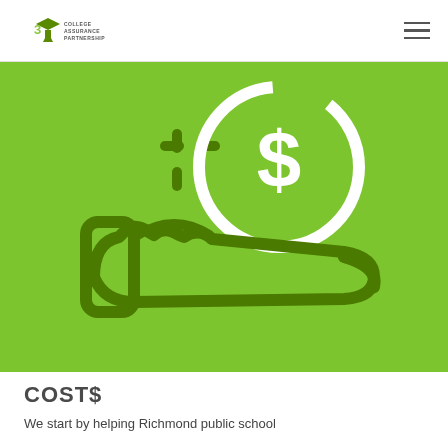[Figure (logo): College Assurance Partnership logo with graduation cap icon and text]
[Figure (illustration): Green background with white and dark green icon of a hand holding a coin with a dollar sign, and a plus/sparkle symbol above the coin]
COST$
We start by helping Richmond public school